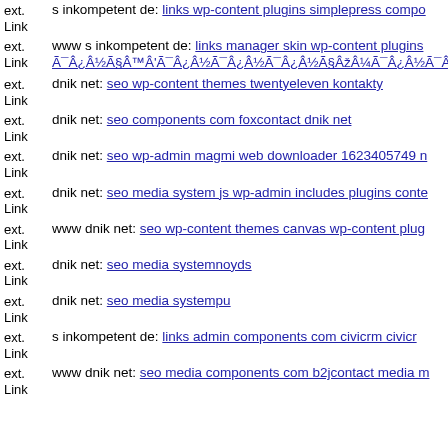ext. Link s inkompetent de: links wp-content plugins simplepress compo…
ext. Link www s inkompetent de: links manager skin wp-content plugins Ã¯Â¿Â½Ã§Â™Â'Ã¯Â¿Â½Ã¯Â¿Â½Ã¯Â¿Â½Ã§ÂžÂ¼Ã¯Â¿Â½A
ext. Link dnik net: seo wp-content themes twentyeleven kontakty
ext. Link dnik net: seo components com foxcontact dnik net
ext. Link dnik net: seo wp-admin magmi web downloader 1623405749 m…
ext. Link dnik net: seo media system js wp-admin includes plugins conte…
ext. Link www dnik net: seo wp-content themes canvas wp-content plug…
ext. Link dnik net: seo media systemnoyds
ext. Link dnik net: seo media systempu
ext. Link s inkompetent de: links admin components com civicrm civicr…
ext. Link www dnik net: seo media components com b2jcontact media m…